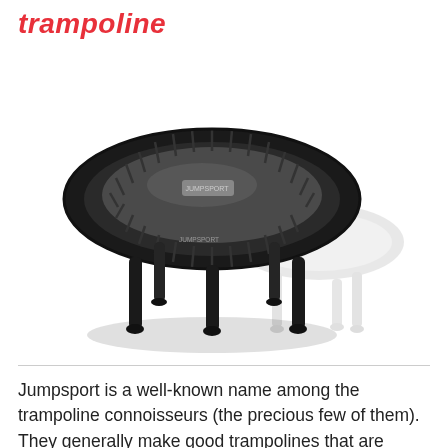trampoline
[Figure (photo): A black mini fitness trampoline (JumpSport) shown from a 3/4 angle, with a padded frame, bungee cords, and six legs. A second lighter-colored trampoline is partially visible in the background to the right.]
Jumpsport is a well-known name among the trampoline connoisseurs (the precious few of them). They generally make good trampolines that are excellent for any rebounding workouts. The model 250 is one